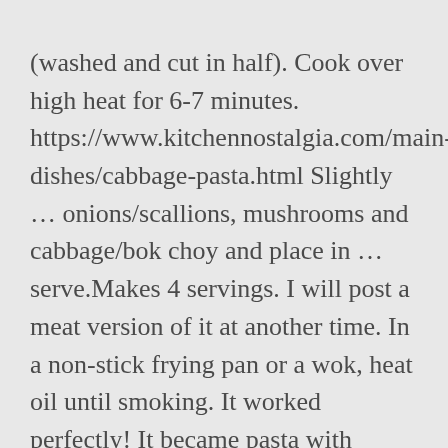(washed and cut in half). Cook over high heat for 6-7 minutes. https://www.kitchennostalgia.com/main-dishes/cabbage-pasta.html Slightly ... onions/scallions, mushrooms and cabbage/bok choy and place in ... serve.Makes 4 servings. I will post a meat version of it at another time. In a non-stick frying pan or a wok, heat oil until smoking. It worked perfectly! It became pasta with cabbage sauce. Fill a measuring cup with 2 cups of https://www.marthastewart.com/340879/quick-cabbage-with-tomatoes Add eggplant and cook for 4 more minutes. This Complete Guide to Cabbage Noodles teaches you how to with the simple boil or as well...